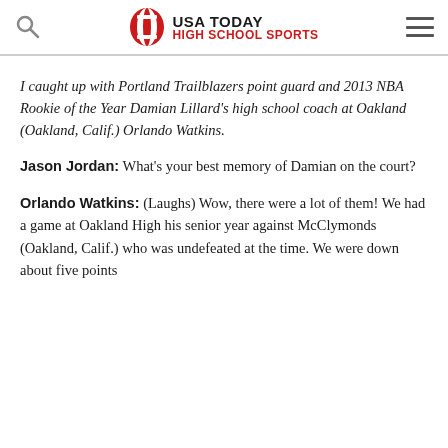USA TODAY HIGH SCHOOL SPORTS
I caught up with Portland Trailblazers point guard and 2013 NBA Rookie of the Year Damian Lillard's high school coach at Oakland (Oakland, Calif.) Orlando Watkins.
Jason Jordan: What's your best memory of Damian on the court?
Orlando Watkins: (Laughs) Wow, there were a lot of them! We had a game at Oakland High his senior year against McClymonds (Oakland, Calif.) who was undefeated at the time. We were down about five points